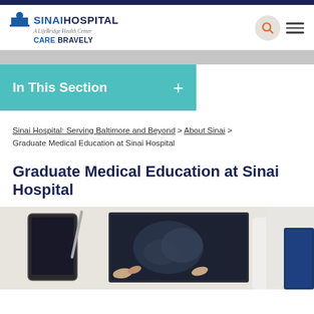SINAI HOSPITAL - A LifeBridge Health Center - CARE BRAVELY
In This Section +
Sinai Hospital: Serving Baltimore and Beyond > About Sinai > Graduate Medical Education at Sinai Hospital
Graduate Medical Education at Sinai Hospital
[Figure (photo): Medical professionals examining X-ray images and using a tablet on a white surface, with hands visible; one person in a white coat holding an X-ray film while another uses a digital tablet.]